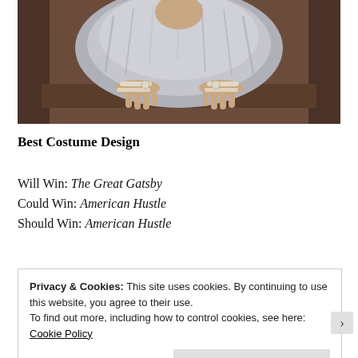[Figure (photo): A woman in a grey fluffy fur wrap and pearl jewelry, leaning on a surface, styled in 1920s Great Gatsby fashion.]
Best Costume Design
Will Win: The Great Gatsby
Could Win: American Hustle
Should Win: American Hustle
Privacy & Cookies: This site uses cookies. By continuing to use this website, you agree to their use.
To find out more, including how to control cookies, see here: Cookie Policy
[Close and accept]